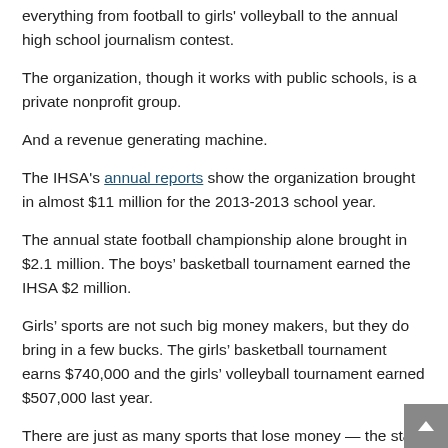everything from football to girls' volleyball to the annual high school journalism contest.
The organization, though it works with public schools, is a private nonprofit group.
And a revenue generating machine.
The IHSA's annual reports show the organization brought in almost $11 million for the 2013-2013 school year.
The annual state football championship alone brought in $2.1 million. The boys’ basketball tournament earned the IHSA $2 million.
Girls’ sports are not such big money makers, but they do bring in a few bucks. The girls’ basketball tournament earns $740,000 and the girls’ volleyball tournament earned $507,000 last year.
There are just as many sports that lose money — the state tennis tournaments for boys and girls earn a whopping $250, but cost about $50,000 to host.
State Rep. Linda Chapa LaVia, the suburban Democrat...